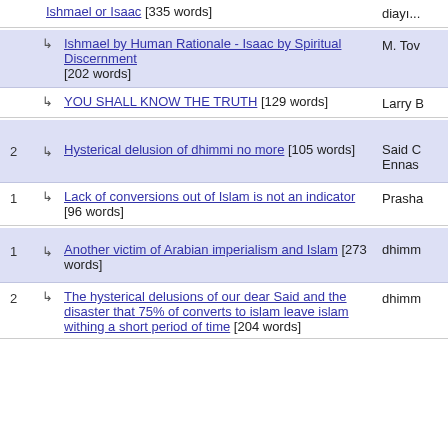Ishmael or Isaac [335 words]
↳ Ishmael by Human Rationale - Isaac by Spiritual Discernment [202 words] — M. Tow
↳ YOU SHALL KNOW THE TRUTH [129 words] — Larry B
2 ↳ Hysterical delusion of dhimmi no more [105 words] — Said C Ennas
1 ↳ Lack of conversions out of Islam is not an indicator [96 words] — Prasha
1 ↳ Another victim of Arabian imperialism and Islam [273 words] — dhimm
2 ↳ The hysterical delusions of our dear Said and the disaster that 75% of converts to islam leave islam withing a short period of time [204 words] — dhimm